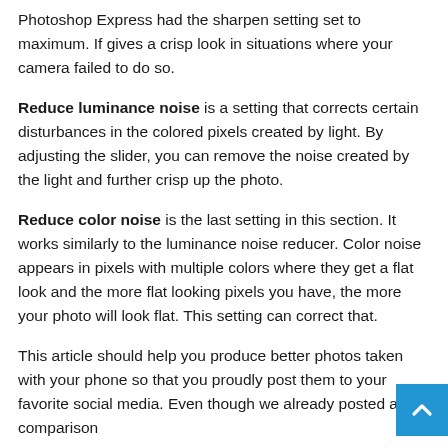Photoshop Express had the sharpen setting set to maximum. If gives a crisp look in situations where your camera failed to do so.
Reduce luminance noise is a setting that corrects certain disturbances in the colored pixels created by light. By adjusting the slider, you can remove the noise created by the light and further crisp up the photo.
Reduce color noise is the last setting in this section. It works similarly to the luminance noise reducer. Color noise appears in pixels with multiple colors where they get a flat look and the more flat looking pixels you have, the more your photo will look flat. This setting can correct that.
This article should help you produce better photos taken with your phone so that you proudly post them to your favorite social media. Even though we already posted a comparison